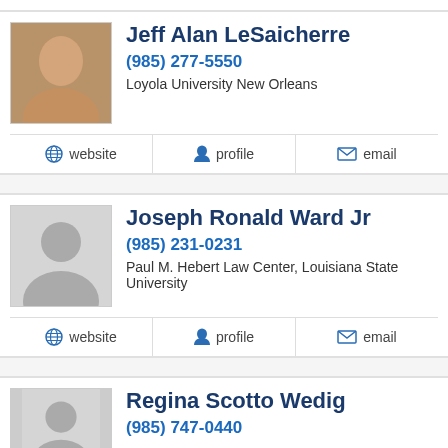Jeff Alan LeSaicherre
(985) 277-5550
Loyola University New Orleans
website  profile  email
Joseph Ronald Ward Jr
(985) 231-0231
Paul M. Hebert Law Center, Louisiana State University
website  profile  email
Regina Scotto Wedig
(985) 747-0440